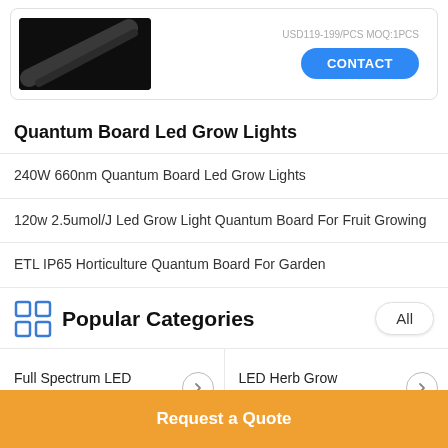[Figure (screenshot): Product card showing LED grow light image with USD price text and a blue CONTACT button]
Quantum Board Led Grow Lights
240W 660nm Quantum Board Led Grow Lights
120w 2.5umol/J Led Grow Light Quantum Board For Fruit Growing
ETL IP65 Horticulture Quantum Board For Garden
Popular Categories
Full Spectrum LED Grow Lights
LED Herb Grow Light
Request a Quote